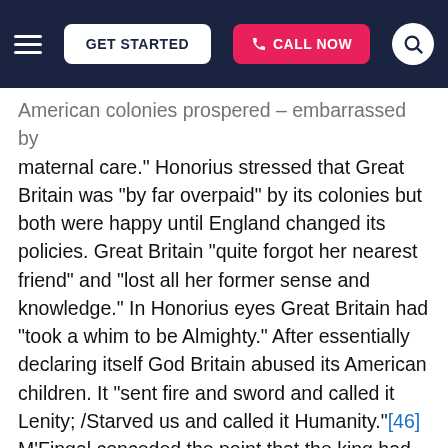GET STARTED | CALL NOW
American colonies prospered – embarrassed by maternal care." Honorius stressed that Great Britain was "by far overpaid" by its colonies but both were happy until England changed its policies. Great Britain "quite forgot her nearest friend" and "lost all her former sense and knowledge." In Honorius eyes Great Britain had "took a whim to be Almighty." After essentially declaring itself God Britain abused its American children. It "sent fire and sword and called it Lenity; /Starved us and called it Humanity."[46] M'Fingal conceded the point that the king had oppressed the British American Colonies; however, he argued that the king has a God given right to oppress his people. M'Fingal continued by saying that a tyrannical king was one of God's great teaching tools. For the Jewish nation God used a king to teach lessons after "famine, slavery, and Philistines" did not get